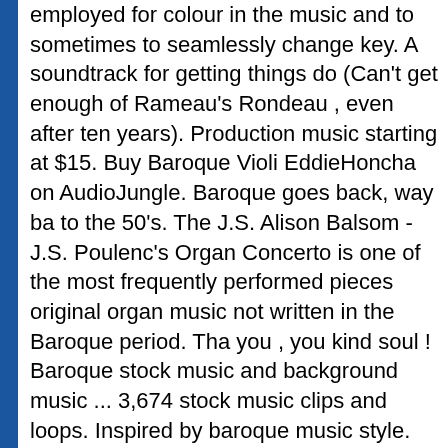employed for colour in the music and to sometimes to seamlessly change key. A soundtrack for getting things do (Can't get enough of Rameau's Rondeau , even after ten years). Production music starting at $15. Buy Baroque Violi EddieHoncha on AudioJungle. Baroque goes back, way ba to the 50's. The J.S. Alison Balsom - J.S. Poulenc's Organ Concerto is one of the most frequently performed pieces original organ music not written in the Baroque period. Tha you , you kind soul ! Baroque stock music and background music ... 3,674 stock music clips and loops. Inspired by baroque music style. The Baroque composers took these dances and developed them into pieces in their own right, without the need for the dancers although the feel of the dance clearly remains. Coro 'Jauchzet, frohlocket, auf preis die Tage', Giulio Cesare: "Va, tacito" (David Daniels), G.Friedrich Händel: GIUSTINO "Di Re sdegnato" DAWN KOTOSKI, Tine Thing Helseth - A. Marcello: Concerto in C Minor - 3: Allegro, Cecila Bartoli chante "La cerasta più